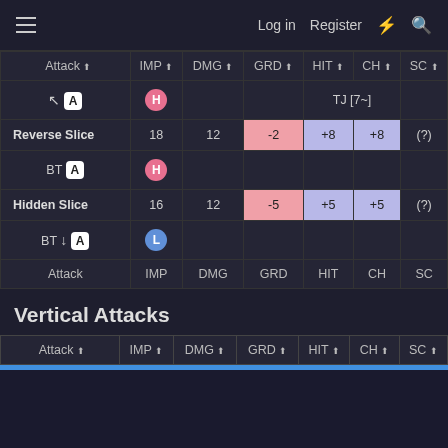Log in  Register
| Attack | IMP | DMG | GRD | HIT | CH | SC |
| --- | --- | --- | --- | --- | --- | --- |
| ↖ A | H |  |  | TJ [7~] |  |  |
| Reverse Slice | 18 | 12 | -2 | +8 | +8 | (?) |
| BT A | H |  |  |  |  |  |
| Hidden Slice | 16 | 12 | -5 | +5 | +5 | (?) |
| BT ↓ A | L |  |  |  |  |  |
| Attack | IMP | DMG | GRD | HIT | CH | SC |
Vertical Attacks
| Attack | IMP | DMG | GRD | HIT | CH | SC |
| --- | --- | --- | --- | --- | --- | --- |